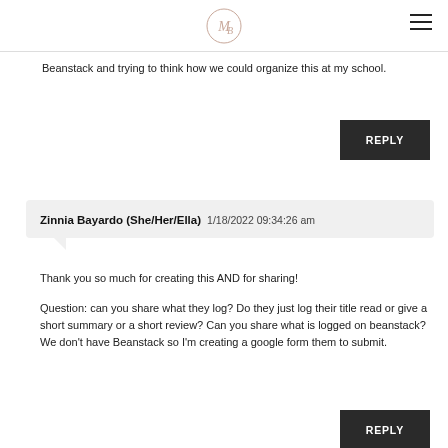Beanstack and trying to think how we could organize this at my school.
REPLY
Zinnia Bayardo (She/Her/Ella)  1/18/2022 09:34:26 am
Thank you so much for creating this AND for sharing!
Question: can you share what they log? Do they just log their title read or give a short summary or a short review? Can you share what is logged on beanstack?
We don't have Beanstack so I'm creating a google form them to submit.
REPLY